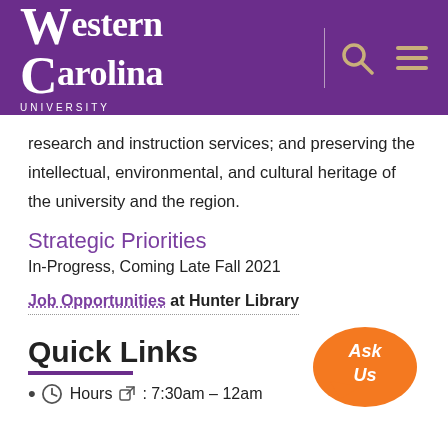[Figure (logo): Western Carolina University logo with purple background, search icon, and menu icon]
research and instruction services; and preserving the intellectual, environmental, and cultural heritage of the university and the region.
Strategic Priorities
In-Progress, Coming Late Fall 2021
Job Opportunities at Hunter Library
Quick Links
Hours: 7:30am – 12am
[Figure (illustration): Orange speech bubble with text 'Ask Us']